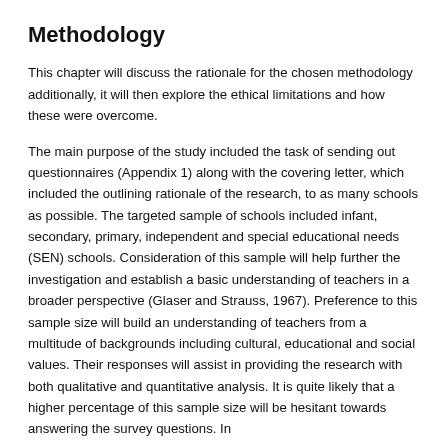Methodology
This chapter will discuss the rationale for the chosen methodology additionally, it will then explore the ethical limitations and how these were overcome.
The main purpose of the study included the task of sending out questionnaires (Appendix 1) along with the covering letter, which included the outlining rationale of the research, to as many schools as possible. The targeted sample of schools included infant, secondary, primary, independent and special educational needs (SEN) schools. Consideration of this sample will help further the investigation and establish a basic understanding of teachers in a broader perspective (Glaser and Strauss, 1967). Preference to this sample size will build an understanding of teachers from a multitude of backgrounds including cultural, educational and social values. Their responses will assist in providing the research with both qualitative and quantitative analysis. It is quite likely that a higher percentage of this sample size will be hesitant towards answering the survey questions. In